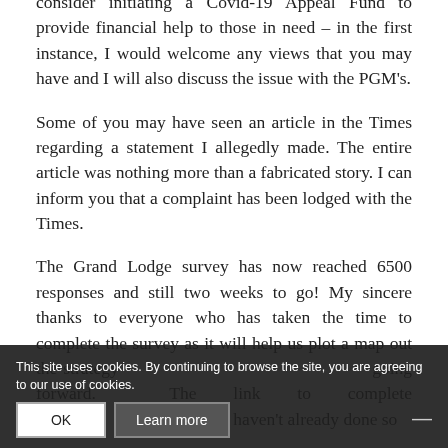the Benevolence and Care Committee that we consider initiating a Covid-19 Appeal Fund to provide financial help to those in need – in the first instance, I would welcome any views that you may have and I will also discuss the issue with the PGM's.
Some of you may have seen an article in the Times regarding a statement I allegedly made. The entire article was nothing more than a fabricated story. I can inform you that a complaint has been lodged with the Times.
The Grand Lodge survey has now reached 6500 responses and still two weeks to go! My sincere thanks to everyone who has taken the time to complete the survey as it will help us plot a map out the strategy going forward. The link to complete the survey if you haven't already done so
This site uses cookies. By continuing to browse the site, you are agreeing to our use of cookies.